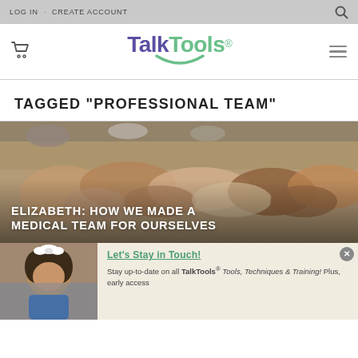LOG IN · CREATE ACCOUNT
[Figure (logo): TalkTools logo with purple 'Talk' and green 'Tools' text and green smile arc]
TAGGED "PROFESSIONAL TEAM"
[Figure (photo): Overhead photo of multiple hands stacked together on a wooden surface, showing teamwork]
ELIZABETH: HOW WE MADE A MEDICAL TEAM FOR OURSELVES
[Figure (photo): Photo of a young girl with curly hair wearing a white bow]
Let's Stay in Touch!
Stay up-to-date on all TalkTools® Tools, Techniques & Training! Plus, early access